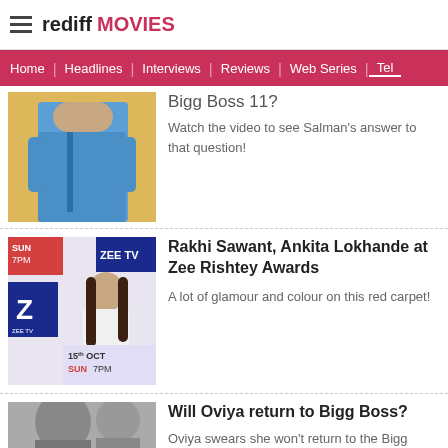rediff MOVIES
Home | Headlines | Interviews | Reviews | Web Series | Tele
Bigg Boss 11?
Watch the video to see Salman's answer to that question!
[Figure (photo): Man in blue jacket at an event]
Rakhi Sawant, Ankita Lokhande at Zee Rishtey Awards
A lot of glamour and colour on this red carpet!
[Figure (photo): Woman in white outfit at Zee TV Zee Rishtey Awards event, 15th Oct Sun 7PM banner visible]
Will Oviya return to Bigg Boss?
Oviya swears she won't return to the Bigg